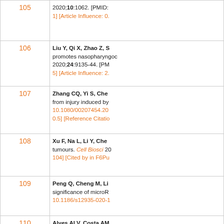| Number | Reference |
| --- | --- |
| 105 | 2020;10:1062. [PMID: 1] [Article Influence: 0. |
| 106 | Liu Y, Qi X, Zhao Z, S... promotes nasopharyngo... 2020;24:9135-44. [PM... 5] [Article Influence: 2. |
| 107 | Zhang CQ, Yi S, Che... from injury induced by... 10.1080/00207454.20... 0.5] [Reference Citatio... |
| 108 | Xu F, Na L, Li Y, Che... tumours. Cell Biosci 20... 104] [Cited by in F6Pu... |
| 109 | Peng Q, Cheng M, Li... significance of microR... 10.1186/s12935-020-1... |
| 110 | Alves ALV, Costa AM... Human Glioblastoma C... Crossref: 1] [Cited by ... |
| 111 | Feng N, Wang B, Cai... cells was mediated by... Toxicol Lett 2020;323:... F6Publisher: 7] [ |